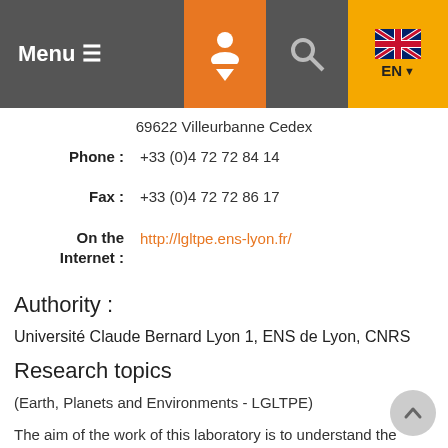Menu ≡  [user icon] [search icon] EN
69622 Villeurbanne Cedex
Phone : +33 (0)4 72 72 84 14
Fax : +33 (0)4 72 72 86 17
On the Internet : http://lgltpe.ens-lyon.fr/
Authority :
Université Claude Bernard Lyon 1, ENS de Lyon, CNRS
Research topics
(Earth, Planets and Environments - LGLTPE)
The aim of the work of this laboratory is to understand the